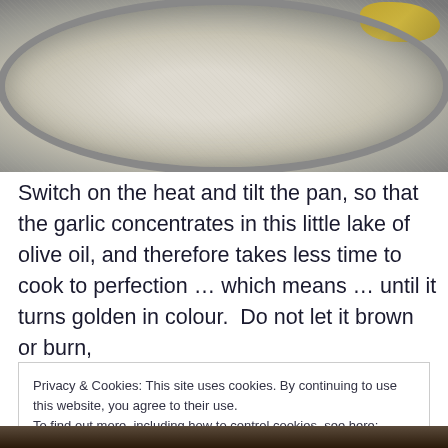[Figure (photo): Close-up photo of a frying pan with olive oil pooled at one edge, viewed from above. The pan interior is light grey/beige with a speckled surface. A stream of golden olive oil is visible at the top right.]
Switch on the heat and tilt the pan, so that the garlic concentrates in this little lake of olive oil, and therefore takes less time to cook to perfection … which means … until it turns golden in colour.  Do not let it brown or burn,
Privacy & Cookies: This site uses cookies. By continuing to use this website, you agree to their use.
To find out more, including how to control cookies, see here: Cookie Policy
[Figure (photo): Bottom portion of another cooking photo, partially visible.]